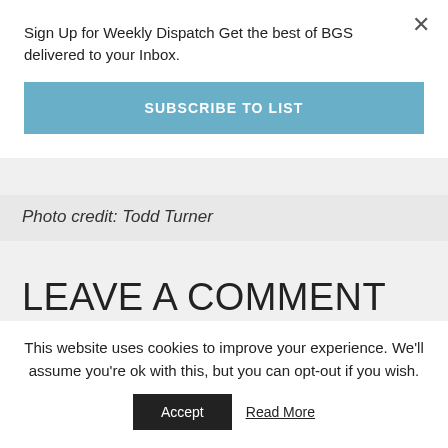Sign Up for Weekly Dispatch Get the best of BGS delivered to your Inbox.
SUBSCRIBE TO LIST
Photo credit: Todd Turner
LEAVE A COMMENT
This website uses cookies to improve your experience. We'll assume you're ok with this, but you can opt-out if you wish.
Accept
Read More